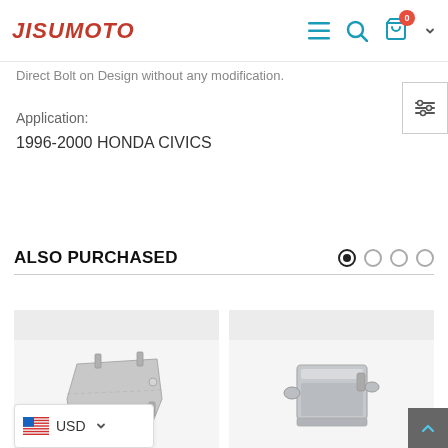JISUMOTO
Direct Bolt on Design without any modification.
Application:
1996-2000 HONDA CIVICS
ALSO PURCHASED
[Figure (photo): Product image of a heat shield/bracket component, metallic silver finish]
[Figure (photo): Product image of a coolant reservoir or fluid container, silver/grey metal component]